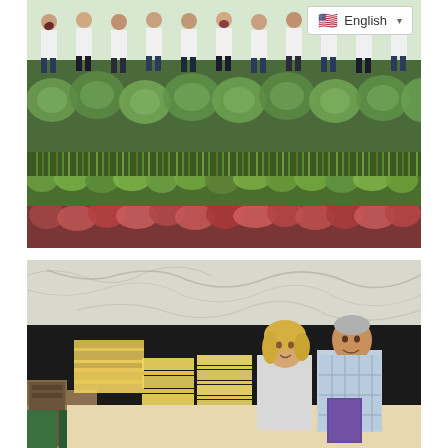[Figure (photo): Group of people standing in rows behind a large outdoor vegetable garden with cabbages, onions, lettuce, and red-leaf lettuce in rows. People are wearing white shirts and holding produce. A language selector showing English with a US flag is visible in the upper right.]
[Figure (photo): Two people (a woman with blonde hair and a man in a checkered shirt) standing in front of a dark display board near stacked books or materials, with a marble-pattern ceiling or wall visible. The man is holding a purple folder/book.]